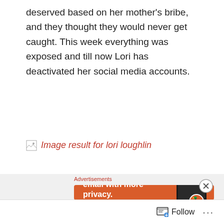deserved based on her mother's bribe, and they thought they would never get caught. This week everything was exposed and till now Lori has deactivated her social media accounts.
[Figure (photo): Broken image placeholder with alt text 'Image result for lori loughlin' displayed in red italic text]
Advertisements
[Figure (screenshot): DuckDuckGo advertisement banner with orange background. Text reads: Search, browse, and email with more privacy. All in One Free App. Shows a phone graphic with DuckDuckGo logo.]
Follow